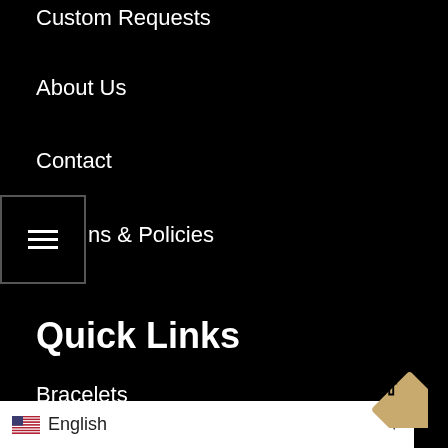Custom Requests
About Us
Contact
[Figure (other): Hamburger menu button icon with three horizontal lines inside a bordered square]
ns & Policies
Quick Links
Bracelets
Chains
Earrings
Featured Items
Merchandise
Pendants
[Figure (other): Gold/tan diamond-shaped scroll-to-top button with upward arrow]
English